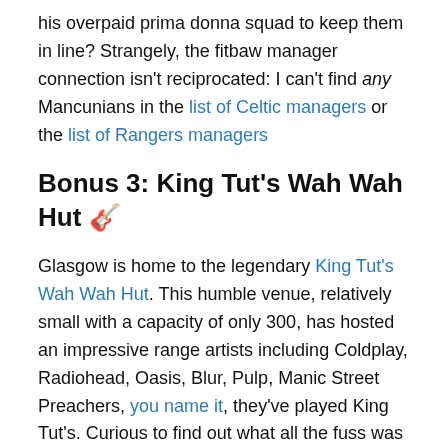his overpaid prima donna squad to keep them in line? Strangely, the fitbaw manager connection isn't reciprocated: I can't find any Mancunians in the list of Celtic managers or the list of Rangers managers
Bonus 3: King Tut's Wah Wah Hut 🎸
Glasgow is home to the legendary King Tut's Wah Wah Hut. This humble venue, relatively small with a capacity of only 300, has hosted an impressive range artists including Coldplay, Radiohead, Oasis, Blur, Pulp, Manic Street Preachers, you name it, they've played King Tut's. Curious to find out what all the fuss was about, I arranged to meetup with an old Glaswegian friend for a drink at the venue. Assuming the gig that night would be sold out we asked at the bar who was playing. Turns out they had a